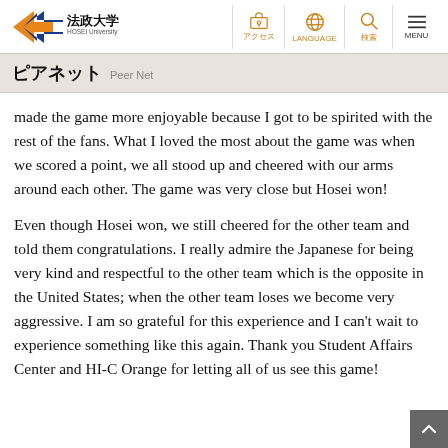法政大学 HOSEI University | アクセス | LANGUAGE | 検索 | MENU
ピアネット Peer Net
made the game more enjoyable because I got to be spirited with the rest of the fans. What I loved the most about the game was when we scored a point, we all stood up and cheered with our arms around each other. The game was very close but Hosei won!
Even though Hosei won, we still cheered for the other team and told them congratulations. I really admire the Japanese for being very kind and respectful to the other team which is the opposite in the United States; when the other team loses we become very aggressive. I am so grateful for this experience and I can't wait to experience something like this again. Thank you Student Affairs Center and HI-C Orange for letting all of us see this game!